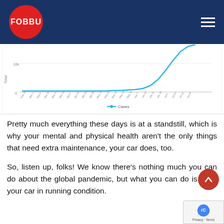[Figure (logo): FOBBU logo: white text on red circle, on navy blue header bar with hamburger menu icon]
[Figure (line-chart): Line chart showing exponential growth of COVID-19 cases over time from approximately Feb to Jul, with a blue line that stays near zero then rises sharply. Y-axis labeled 'Total' with value '10k' marked. Legend shows 'Cases'. X-axis shows dates from Feb 23 through Jul 27.]
Pretty much everything these days is at a standstill, which is why your mental and physical health aren’t the only things that need extra maintenance, your car does, too.
So, listen up, folks! We know there’s nothing much you can do about the global pandemic, but what you can do is keep your car in running condition.